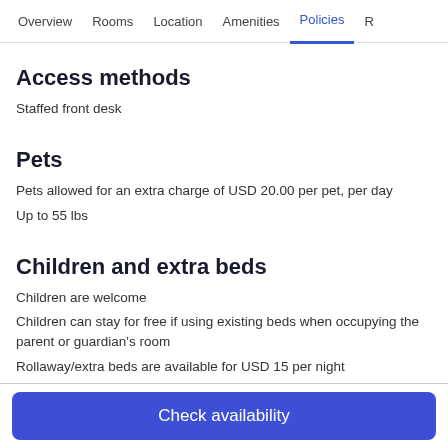Overview  Rooms  Location  Amenities  Policies  R
Access methods
Staffed front desk
Pets
Pets allowed for an extra charge of USD 20.00 per pet, per day
Up to 55 lbs
Children and extra beds
Children are welcome
Children can stay for free if using existing beds when occupying the parent or guardian's room
Rollaway/extra beds are available for USD 15 per night
Free cribs are available on request at the property
Check availability